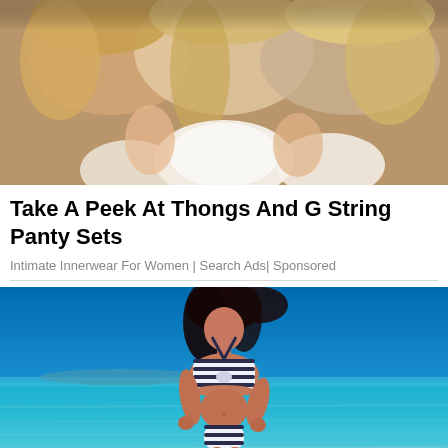[Figure (photo): Photo of women with long blonde hair, wearing white lace/embroidered tops, posed against a brown/warm background]
Take A Peek At Thongs And G String Panty Sets
Intimate Innerwear For Women | Search Ads | Sponsored
[Figure (photo): Woman with dark hair wearing a striped navy and white bikini, standing in clear turquoise ocean water with a blue sky background]